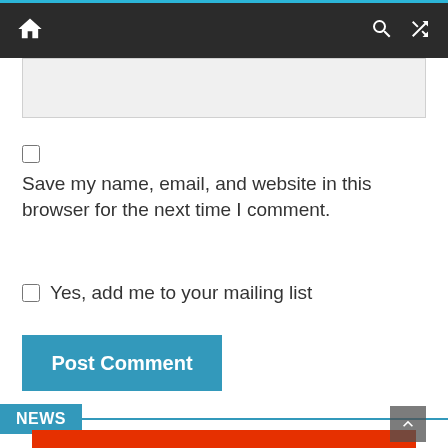Navigation bar with home, search, and shuffle icons
[Figure (screenshot): Empty textarea input box with light gray background]
Save my name, email, and website in this browser for the next time I comment.
Yes, add me to your mailing list
Post Comment
NEWS
[Figure (photo): Red/orange colored image block at bottom of page]